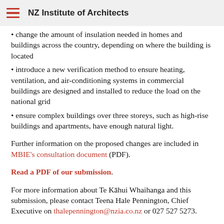NZ Institute of Architects
change the amount of insulation needed in homes and buildings across the country, depending on where the building is located
introduce a new verification method to ensure heating, ventilation, and air-conditioning systems in commercial buildings are designed and installed to reduce the load on the national grid
ensure complex buildings over three storeys, such as high-rise buildings and apartments, have enough natural light.
Further information on the proposed changes are included in MBIE's consultation document (PDF).
Read a PDF of our submission.
For more information about Te Kāhui Whaihanga and this submission, please contact Teena Hale Pennington, Chief Executive on thalepennington@nzia.co.nz or 027 527 5273.